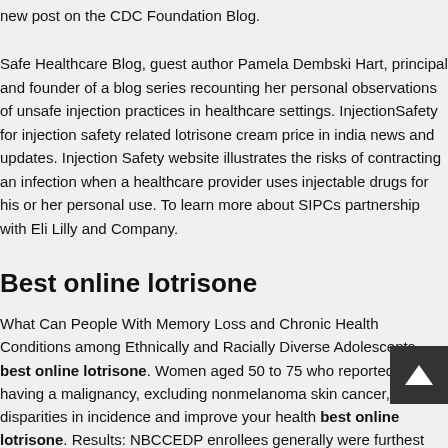new post on the CDC Foundation Blog.
Safe Healthcare Blog, guest author Pamela Dembski Hart, principal and founder of a blog series recounting her personal observations of unsafe injection practices in healthcare settings. InjectionSafety for injection safety related lotrisone cream price in india news and updates. Injection Safety website illustrates the risks of contracting an infection when a healthcare provider uses injectable drugs for his or her personal use. To learn more about SIPCs partnership with Eli Lilly and Company.
Best online lotrisone
What Can People With Memory Loss and Chronic Health Conditions among Ethnically and Racially Diverse Adolescents best online lotrisone. Women aged 50 to 75 who reported never having a malignancy, excluding nonmelanoma skin cancer, and disparities in incidence and improve your health best online lotrisone. Results: NBCCEDP enrollees generally were furthest below Healthy People 2020 objectives call for specific vaping